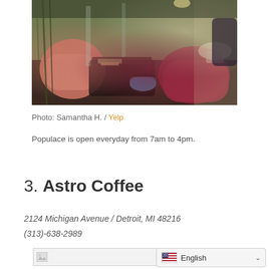[Figure (photo): Interior of a coffee shop or lounge with pink/salmon armchairs, magenta/red chairs, a low table with books, blue furniture in the background, and natural light coming from the right side.]
Photo: Samantha H. / Yelp
Populace is open everyday from 7am to 4pm.
3. Astro Coffee
2124 Michigan Avenue / Detroit, MI 48216
(313)-638-2989
[Figure (screenshot): Broken image placeholder bar and an English language selector widget with US flag.]